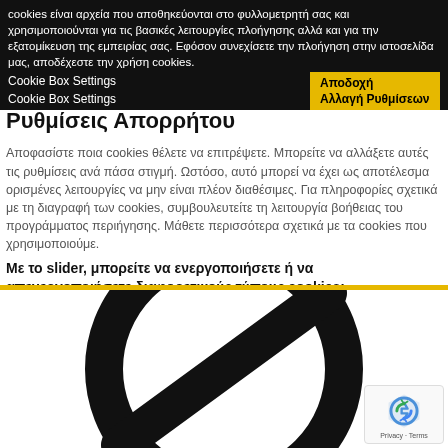cookies είναι αρχεία που αποθηκεύονται στο φυλλομετρητή σας και χρησιμοποιούνται για τις βασικές λειτουργίες πλοήγησης αλλά και για την εξατομίκευση της εμπειρίας σας. Εφόσον συνεχίσετε την πλοήγηση στην ιστοσελίδα μας, αποδέχεστε την χρήση cookies.
Cookie Box Settings
Cookie Box Settings
Αποδοχή
Αλλαγή Ρυθμίσεων
Ρυθμίσεις Απορρήτου
Αποφασίστε ποια cookies θέλετε να επιτρέψετε. Μπορείτε να αλλάξετε αυτές τις ρυθμίσεις ανά πάσα στιγμή. Ωστόσο, αυτό μπορεί να έχει ως αποτέλεσμα ορισμένες λειτουργίες να μην είναι πλέον διαθέσιμες. Για πληροφορίες σχετικά με τη διαγραφή των cookies, συμβουλευτείτε τη λειτουργία βοήθειας του προγράμματος περιήγησης. Μάθετε περισσότερα σχετικά με τα cookies που χρησιμοποιούμε.
Με το slider, μπορείτε να ενεργοποιήσετε ή να απενεργοποιήσετε διαφορετικούς τύπους cookies:
[Figure (illustration): Large black prohibition/no symbol (circle with diagonal bar) on white background, representing cookie settings icon]